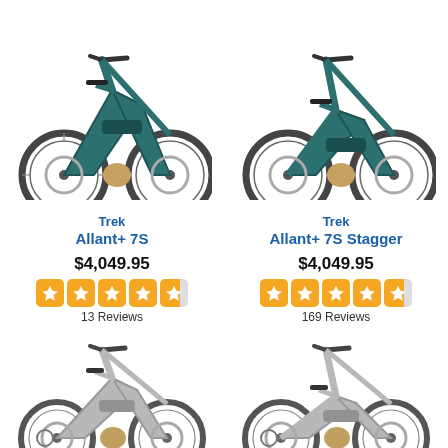[Figure (photo): Trek Allant+ 7S electric bike, dark teal color, top portion cropped, left side]
[Figure (photo): Trek Allant+ 7S Stagger electric bike, dark teal color, top portion cropped, right side]
Trek
Allant+ 7S
$4,049.95
4.5 stars, 13 Reviews
Trek
Allant+ 7S Stagger
$4,049.95
4.5 stars, 169 Reviews
[Figure (photo): Trek electric bike, silver/gray color, full side view, bottom left]
[Figure (photo): Trek electric bike, silver/gray color, stagger frame, full side view, bottom right]